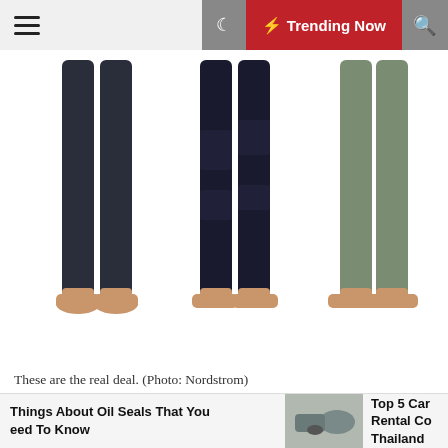≡  ☽  ⚡ Trending Now  🔍
[Figure (photo): Three pairs of legs wearing different colored leggings (dark navy, dark with pattern, olive/grey) against a white background, barefoot, lower legs and feet visible]
These are the real deal. (Photo: Nordstrom)
Alo leggings are seriously amazing. Not only are celebrities constantly spotted in them, but one of our editors (a yoga instructor!!) is obsessed with them. They're buttery soft, come in stylish colors and styles, and are built-it for withstanding even your sweatiest workouts. The only qualm is their $100-plus price tag, but thankfully you can score them for reasonable prices with this sale. The Alo Airlift Leggings that our editor swears by are included in the sale as well as the cool High
Things About Oil Seals That You eed To Know    Top 5 Car Rental Co Thailand